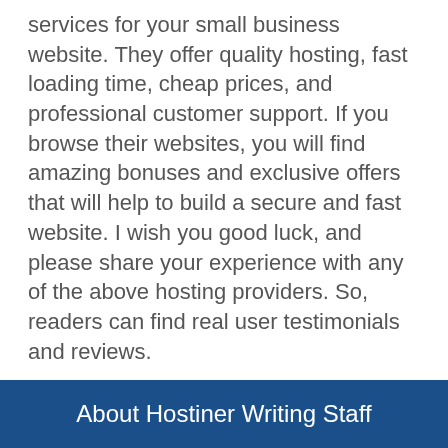services for your small business website. They offer quality hosting, fast loading time, cheap prices, and professional customer support. If you browse their websites, you will find amazing bonuses and exclusive offers that will help to build a secure and fast website. I wish you good luck, and please share your experience with any of the above hosting providers. So, readers can find real user testimonials and reviews.
Hosting Guides
Average Cost to Host a Website per Month or Yearly
What is a Shared Web Hosting Service? Benefits and Limitations
About Hostiner Writing Staff